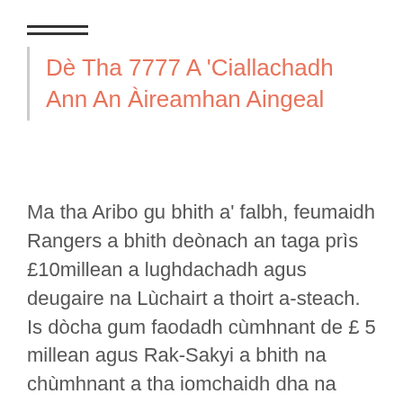Dè Tha 7777 A 'Ciallachadh Ann An Àireamhan Aingeal
Ma tha Aribo gu bhith a' falbh, feumaidh Rangers a bhith deònach an taga prìs £10millean a lughdachadh agus deugaire na Lùchairt a thoirt a-steach. Is dòcha gum faodadh cùmhnant de £ 5 millean agus Rak-Sakyi a bhith na chùmhnant a tha iomchaidh dha na pàrtaidhean uile a tha an sàs ann.